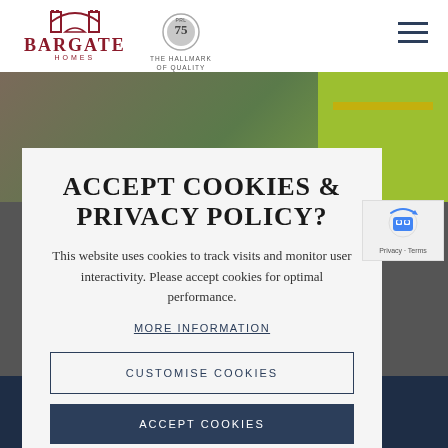[Figure (logo): Bargate Homes logo with arch icon and text, plus Hallmark of Quality badge (75 years) — white header bar with hamburger menu on right]
[Figure (photo): Construction workers in high-visibility yellow vests at a building site]
ACCEPT COOKIES & PRIVACY POLICY?
This website uses cookies to track visits and monitor user interactivity. Please accept cookies for optimal performance.
MORE INFORMATION
CUSTOMISE COOKIES
ACCEPT COOKIES
[Figure (logo): reCAPTCHA badge with robot icon and Privacy - Terms text]
[Figure (logo): Bargate Homes white logo in dark navy footer bar]